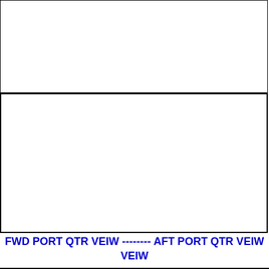[Figure (engineering-diagram): Two empty bordered rectangular boxes stacked vertically, representing diagram areas for FWD PORT QTR VIEW and AFT PORT QTR VIEW engineering diagrams. The boxes are blank/empty with black borders.]
FWD PORT QTR VEIW -------- AFT PORT QTR VEIW